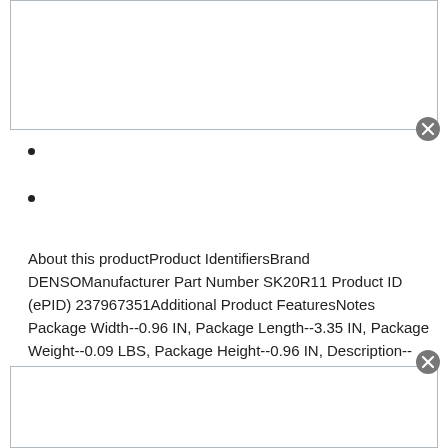About this productProduct IdentifiersBrand DENSOManufacturer Part Number SK20R11 Product ID (ePID) 237967351Additional Product FeaturesNotes Package Width--0.96 IN, Package Length--3.35 IN, Package Weight--0.09 LBS, Package Height--0.96 IN, Description--Iridium Long Life Spark PlugSub Type Spark PlugPart TypeFor sale is a set of 6 New Iridium Spark Plug Toyota Camry RAV4 Scion Lexus 90919-01210 SK20R11 Whats included:Set of 4 New Iridium Spark Plug Toyota Camry RAV4 Scion Lexus 90919-01210 SK20R11Shipping:- Item will be shipped the same day or next day the payment is received.- Item ships FREE from California. FREE Priority shipping!